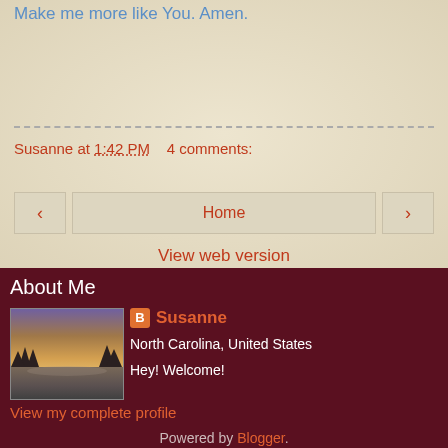Make me more like You. Amen.
Susanne at 1:42 PM    4 comments:
Home
View web version
About Me
[Figure (photo): Landscape photo showing a purple/orange sunset sky over a snow-covered or rocky terrain with trees]
Susanne
North Carolina, United States
Hey! Welcome!
View my complete profile
Powered by Blogger.